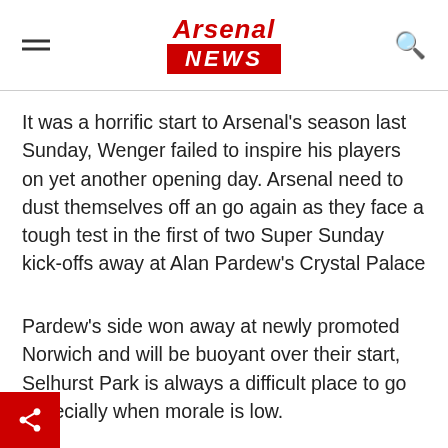Arsenal NEWS
It was a horrific start to Arsenal’s season last Sunday, Wenger failed to inspire his players on yet another opening day. Arsenal need to dust themselves off an go again as they face a tough test in the first of two Super Sunday kick-offs away at Alan Pardew’s Crystal Palace
Pardew’s side won away at newly promoted Norwich and will be buoyant over their start, Selhurst Park is always a difficult place to go especially when morale is low.